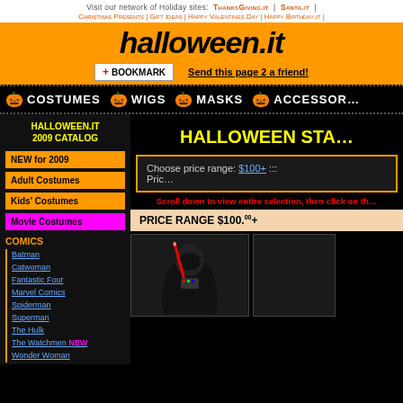Visit our network of Holiday sites: ThanksGiving.it | Santa.it |
Christmas Presents | Gift Ideas | Happy Valentines Day | Happy Birthday.it |
halloween.it
BOOKMARK | Send this page 2 a friend!
COSTUMES  WIGS  MASKS  ACCESSORIES
HALLOWEEN.IT 2009 CATALOG
NEW for 2009
Adult Costumes
Kids' Costumes
Movie Costumes
COMICS
Batman
Catwoman
Fantastic Four
Marvel Comics
Spiderman
Superman
The Hulk
The Watchmen NEW
Wonder Woman
HALLOWEEN STA...
Choose price range: $100+ ::: Price...
Scroll down to view entire selection, then click on th...
PRICE RANGE $100.00+
[Figure (photo): Halloween costume product image showing Darth Vader costume with red lightsaber]